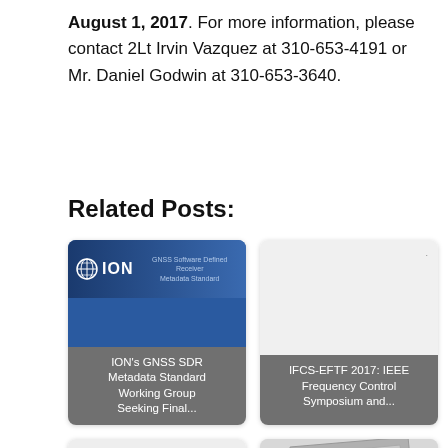August 1, 2017. For more information, please contact 2Lt Irvin Vazquez at 310-653-4191 or Mr. Daniel Godwin at 310-653-3640.
Related Posts:
[Figure (other): Card with ION GNSS SDR Metadata Standard banner image and caption: ION's GNSS SDR Metadata Standard Working Group Seeking Final...]
[Figure (other): Card with blank/gray image area and caption: IFCS-EFTF 2017: IEEE Frequency Control Symposium and...]
[Figure (other): Card with blank/gray image area and caption: 2011 Joint IEEE International Frequency Control...]
[Figure (other): Card with layered gray paper/sheets image and caption: GPS Interface Control Working Group To Meet in...]